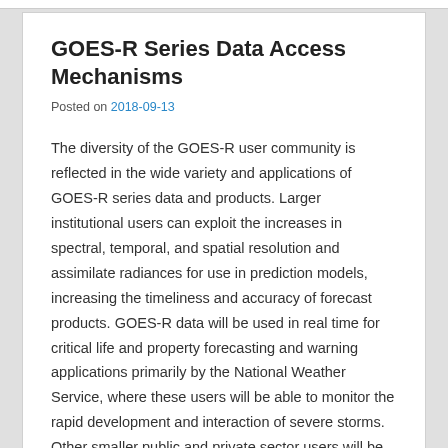GOES-R Series Data Access Mechanisms
Posted on 2018-09-13
The diversity of the GOES-R user community is reflected in the wide variety and applications of GOES-R series data and products. Larger institutional users can exploit the increases in spectral, temporal, and spatial resolution and assimilate radiances for use in prediction models, increasing the timeliness and accuracy of forecast products. GOES-R data will be used in real time for critical life and property forecasting and warning applications primarily by the National Weather Service, where these users will be able to monitor the rapid development and interaction of severe storms. Other smaller public and private sector users will be able to obtain GOES-R data through their own Earth